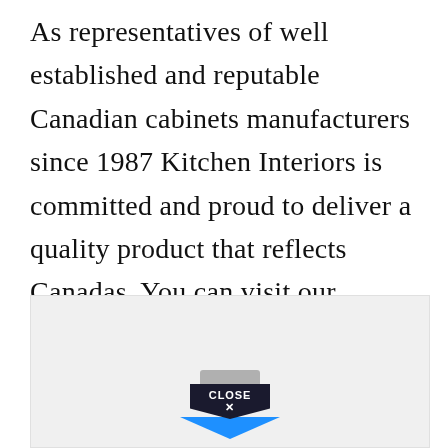As representatives of well established and reputable Canadian cabinets manufacturers since 1987 Kitchen Interiors is committed and proud to deliver a quality product that reflects Canadas. You can visit our showroom in Ottawa or we can do the consultation by phone if that works better for you.
[Figure (other): Advertisement placeholder box with a 'CLOSE X' button styled as a black pentagon with a blue downward arrow, and a grey tab above it.]